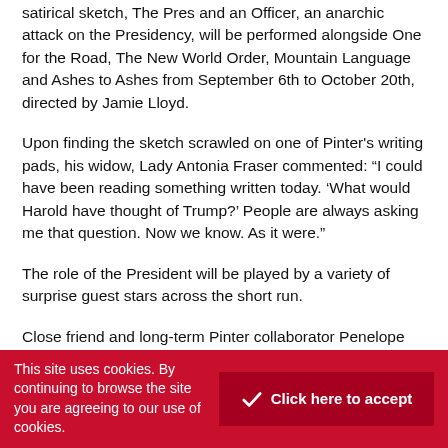satirical sketch, The Pres and an Officer, an anarchic attack on the Presidency, will be performed alongside One for the Road, The New World Order, Mountain Language and Ashes to Ashes from September 6th to October 20th, directed by Jamie Lloyd.
Upon finding the sketch scrawled on one of Pinter's writing pads, his widow, Lady Antonia Fraser commented: “I could have been reading something written today. ‘What would Harold have thought of Trump?’ People are always asking me that question. Now we know. As it were.”
The role of the President will be played by a variety of surprise guest stars across the short run.
Close friend and long-term Pinter collaborator Penelope Wilton (Downton Abbey) will also 40 per risk and the
This site uses cookies. By continuing to browse the site you are agreeing to our use of cookies.
Click here to accept